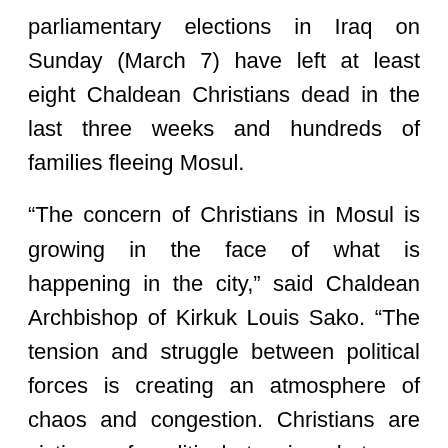parliamentary elections in Iraq on Sunday (March 7) have left at least eight Chaldean Christians dead in the last three weeks and hundreds of families fleeing Mosul.
“The concern of Christians in Mosul is growing in the face of what is happening in the city,” said Chaldean Archbishop of Kirkuk Louis Sako. “The tension and struggle between political forces is creating an atmosphere of chaos and congestion. Christians are victims of political tension between political groups, but maybe also by fundamentalist sectarian cleansing.”
On Feb. 23 the killing of Eshoee Marokee, a Christian, and his two sons in their home in front of other family members sent shock waves across the Christian community. The murder took place amid a string of murders that triggered the mass exodus of families to the surrounding towns and